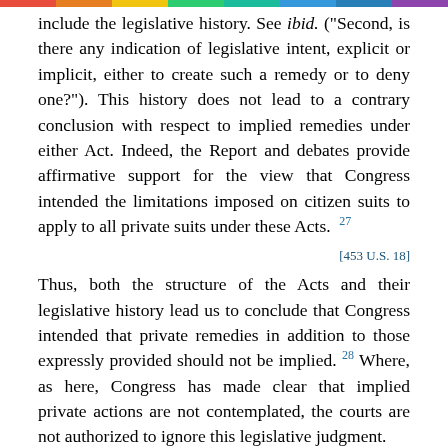include the legislative history. See ibid. ("Second, is there any indication of legislative intent, explicit or implicit, either to create such a remedy or to deny one?"). This history does not lead to a contrary conclusion with respect to implied remedies under either Act. Indeed, the Report and debates provide affirmative support for the view that Congress intended the limitations imposed on citizen suits to apply to all private suits under these Acts. 27
[453 U.S. 18]
Thus, both the structure of the Acts and their legislative history lead us to conclude that Congress intended that private remedies in addition to those expressly provided should not be implied. 28 Where, as here, Congress has made clear that implied private actions are not contemplated, the courts are not authorized to ignore this legislative judgment.
[453 U.S. 19]